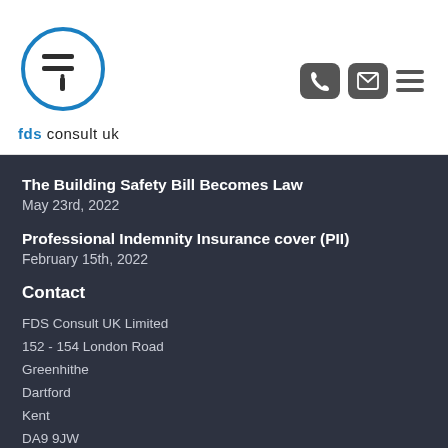[Figure (logo): FDS Consult UK logo: a circle with horizontal lines and an 'i' symbol in blue, with text 'fds consult uk' below]
[Figure (infographic): Navigation icons: phone icon in grey rounded box, email/envelope icon in grey rounded box, hamburger menu with three horizontal lines]
The Building Safety Bill Becomes Law
May 23rd, 2022
Professional Indemnity Insurance cover (PII)
February 15th, 2022
Contact
FDS Consult UK Limited
152 - 154 London Road
Greenhithe
Dartford
Kent
DA9 9JW
+44 (0)1322 387411